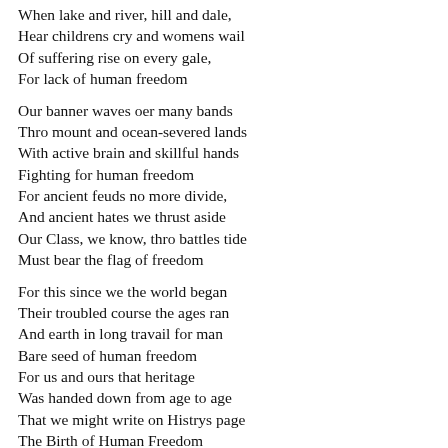When lake and river, hill and dale,
Hear childrens cry and womens wail
Of suffering rise on every gale,
For lack of human freedom
Our banner waves oer many bands
Thro mount and ocean-severed lands
With active brain and skillful hands
Fighting for human freedom
For ancient feuds no more divide,
And ancient hates we thrust aside
Our Class, we know, thro battles tide
Must bear the flag of freedom
For this since we the world began
Their troubled course the ages ran
And earth in long travail for man
Bare seed of human freedom
For us and ours that heritage
Was handed down from age to age
That we might write on Histrys page
The Birth of Human Freedom
Freedoms Sun
(air--Loves Young Dream)